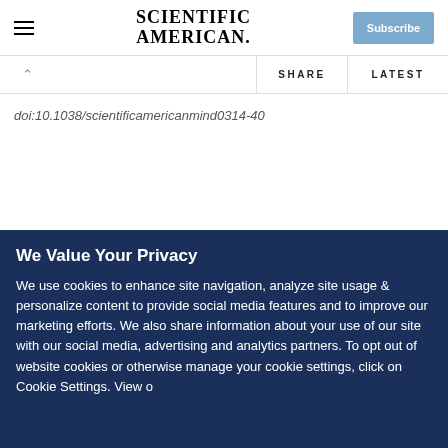SCIENTIFIC AMERICAN
doi:10.1038/scientificamericanmind0314-40
Rights & Permissions
We Value Your Privacy
We use cookies to enhance site navigation, analyze site usage & personalize content to provide social media features and to improve our marketing efforts. We also share information about your use of our site with our social media, advertising and analytics partners. To opt out of website cookies or otherwise manage your cookie settings, click on Cookie Settings. View our